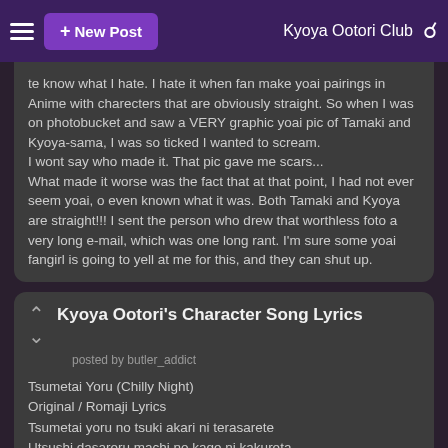≡  + New Post    Kyoya Ootori Club  🔍
te know what I hate. I hate it when fan make yoai pairings in Anime with charecters that are obviously straight. So when I was on photobucket and saw a VERY graphic yoai pic of Tamaki and Kyoya-sama, I was so ticked I wanted to scream.
I wont say who made it. That pic gave me scars...
What made it worse was the fact that at that point, I had not ever seem yoai, o even known what it was. Both Tamaki and Kyoya are straight!!! I sent the person who drew that worthless foto a very long e-mail, which was one long rant. I'm sure some yoai fangirl is going to yell at me for this, and they can shut up.
Kyoya Ootori's Character Song Lyrics
posted by butler_addict
Tsumetai Yoru (Chilly Night)
Original / Romaji Lyrics
Tsumetai yoru no tsuki akari ni terasarete
Utsushi dasareru machi no kage ni kakureta